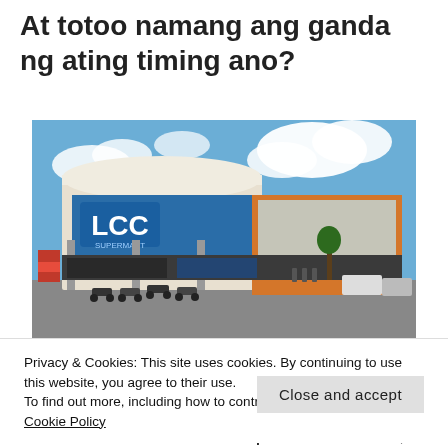At totoo namang ang ganda ng ating timing ano?
[Figure (photo): Exterior photo of LCC shopping mall with blue storefront signage, parking area with motorcycles in foreground, blue sky with clouds in background.]
Privacy & Cookies: This site uses cookies. By continuing to use this website, you agree to their use.
To find out more, including how to control cookies, see here: Cookie Policy
Close and accept
Madlan nananaman sa Pilipinas at for sure,